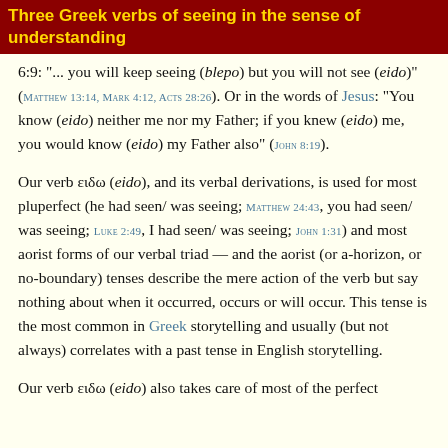Three Greek verbs of seeing in the sense of understanding
6:9: "... you will keep seeing (blepo) but you will not see (eido)" (MATTHEW 13:14, MARK 4:12, ACTS 28:26). Or in the words of Jesus: "You know (eido) neither me nor my Father; if you knew (eido) me, you would know (eido) my Father also" (JOHN 8:19).
Our verb ειδω (eido), and its verbal derivations, is used for most pluperfect (he had seen/ was seeing; MATTHEW 24:43, you had seen/ was seeing; LUKE 2:49, I had seen/ was seeing; JOHN 1:31) and most aorist forms of our verbal triad — and the aorist (or a-horizon, or no-boundary) tenses describe the mere action of the verb but say nothing about when it occurred, occurs or will occur. This tense is the most common in Greek storytelling and usually (but not always) correlates with a past tense in English storytelling.
Our verb ειδω (eido) also takes care of most of the perfect